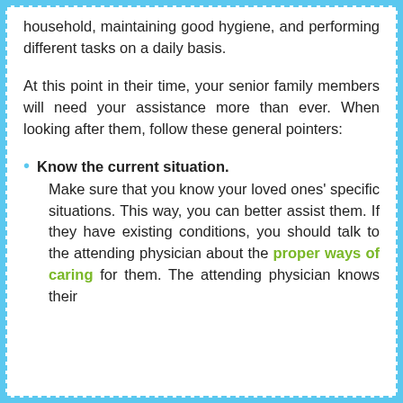household, maintaining good hygiene, and performing different tasks on a daily basis.
At this point in their time, your senior family members will need your assistance more than ever. When looking after them, follow these general pointers:
Know the current situation. Make sure that you know your loved ones' specific situations. This way, you can better assist them. If they have existing conditions, you should talk to the attending physician about the proper ways of caring for them. The attending physician knows their
The attending physician knows their